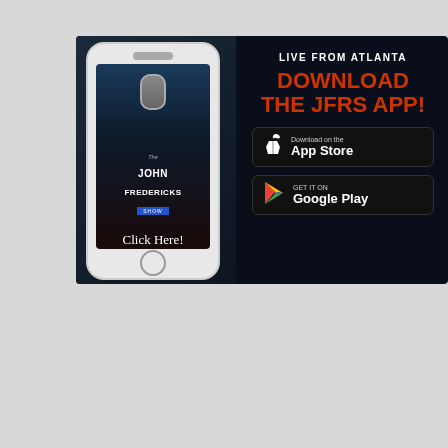[Figure (infographic): Advertisement for The John Fredericks Show app. Dark navy background. Left side shows a smartphone mockup with the show's branding and 'Click Here!' text. Right side shows 'LIVE FROM ATLANTA' header, 'DOWNLOAD THE JFRS APP!' in orange text, Apple App Store download button, and Google Play download button.]
[Figure (infographic): Atlanta weather widget showing temperature of 84 degrees with 'smoke' condition label. Blue-grey to warm brown gradient background.]